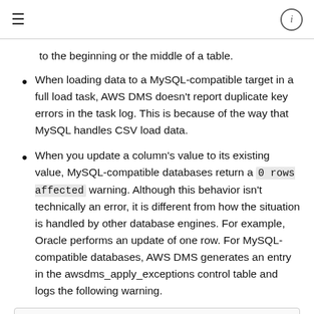≡  (i)
to the beginning or the middle of a table.
When loading data to a MySQL-compatible target in a full load task, AWS DMS doesn't report duplicate key errors in the task log. This is because of the way that MySQL handles CSV load data.
When you update a column's value to its existing value, MySQL-compatible databases return a 0 rows affected warning. Although this behavior isn't technically an error, it is different from how the situation is handled by other database engines. For example, Oracle performs an update of one row. For MySQL-compatible databases, AWS DMS generates an entry in the awsdms_apply_exceptions control table and logs the following warning.
[Figure (screenshot): Code block area with copy icon button at bottom right]